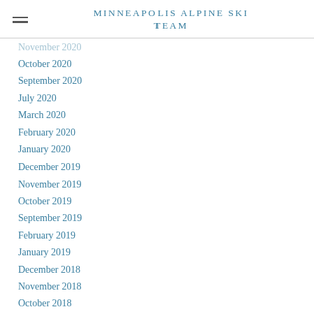MINNEAPOLIS ALPINE SKI TEAM
November 2020
October 2020
September 2020
July 2020
March 2020
February 2020
January 2020
December 2019
November 2019
October 2019
September 2019
February 2019
January 2019
December 2018
November 2018
October 2018
September 2018
August 2018